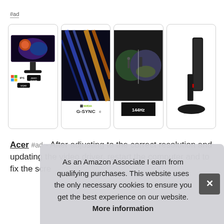#ad
[Figure (photo): Four product image cards for an Acer gaming monitor: (1) monitor front view with IPS, WQHD, Zero Frame logos; (2) colorful light streaks with NVIDIA G-SYNC logo; (3) gaming scene with 144Hz logo; (4) side profile of monitor on stand]
Acer #ad - After adjusting to the correct resolution and updating the video driver, restart the computer and to fix the scre...
As an Amazon Associate I earn from qualifying purchases. This website uses the only necessary cookies to ensure you get the best experience on our website. More information